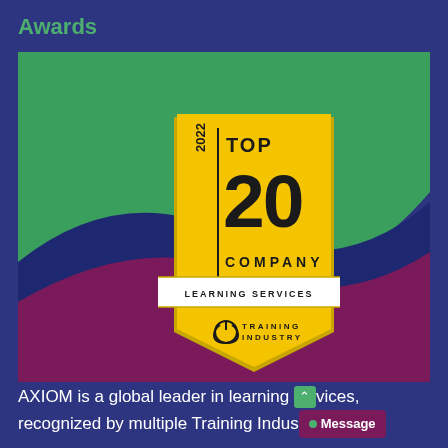Awards
[Figure (logo): 2022 Top 20 Company Learning Services Training Industry badge/award logo on a colorful background with green and purple shapes]
AXIOM is a global leader in learning services, recognized by multiple Training Indus[try]